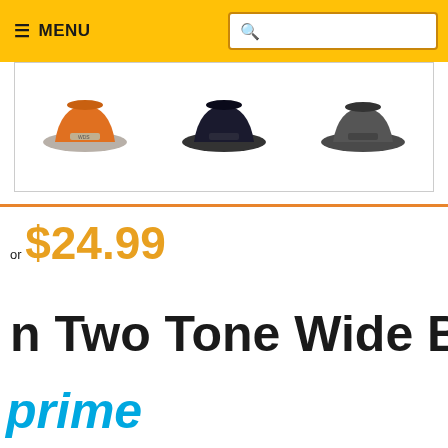MENU [search bar]
[Figure (photo): Three hats shown in product listing thumbnails: orange/brown hat, dark navy hat, dark cap]
or $24.99
n Two Tone Wide B
prime